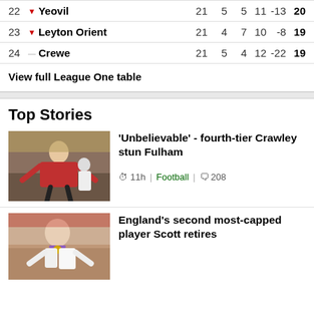| # |  | Team | P | W | D | L | GD | Pts |
| --- | --- | --- | --- | --- | --- | --- | --- | --- |
| 22 | ▼ | Yeovil | 21 | 5 | 5 | 11 | -13 | 20 |
| 23 | ▼ | Leyton Orient | 21 | 4 | 7 | 10 | -8 | 19 |
| 24 | — | Crewe | 21 | 5 | 4 | 12 | -22 | 19 |
View full League One table
Top Stories
[Figure (photo): Football player in red jersey celebrating with arms outstretched]
'Unbelievable' - fourth-tier Crawley stun Fulham
11h | Football | 208
[Figure (photo): Female footballer smiling with medal]
England's second most-capped player Scott retires